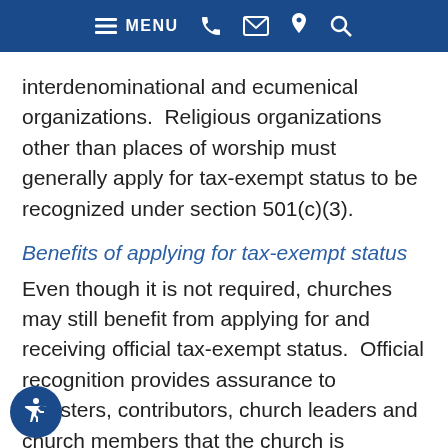MENU [phone] [email] [location] [search]
interdenominational and ecumenical organizations.  Religious organizations other than places of worship must generally apply for tax-exempt status to be recognized under section 501(c)(3).
Benefits of applying for tax-exempt status
Even though it is not required, churches may still benefit from applying for and receiving official tax-exempt status.  Official recognition provides assurance to ministers, contributors, church leaders and church members that the church is recognized and qualifies for related tax benefits.  Contributors, for example, may be